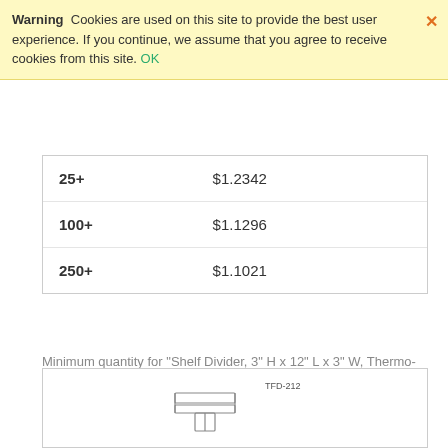Warning Cookies are used on this site to provide the best user experience. If you continue, we assume that you agree to receive cookies from this site. OK
| Qty | Price |
| --- | --- |
| 25+ | $1.2342 |
| 100+ | $1.1296 |
| 250+ | $1.1021 |
Minimum quantity for "Shelf Divider, 3" H x 12" L x 3" W, Thermo-Formed, Adhesive Mounting, TFD-412" is 25.
ADD TO CART [icon buttons]
[Figure (illustration): Product image area showing TFD-212 shelf divider illustration in a bordered box at the bottom of the page, partially visible]